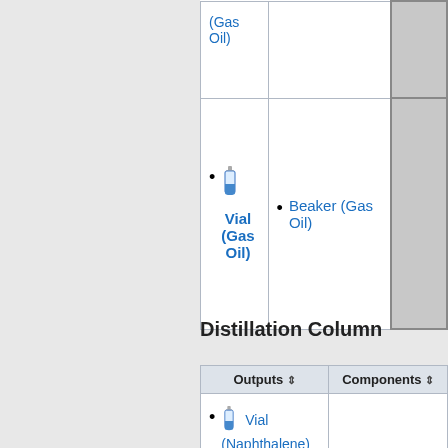| Outputs | Components |  |
| --- | --- | --- |
| (Gas
Oil) |  |  |
| Vial (Gas Oil) | Beaker (Gas Oil) |  |
Distillation Column
| Outputs | Components |
| --- | --- |
| Vial (Naphthalene)
Vial (Benzene) | Vial (Crude |